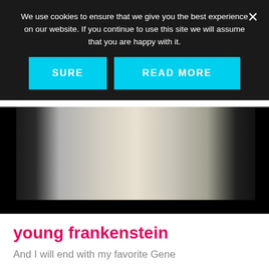We use cookies to ensure that we give you the best experience on our website. If you continue to use this site we will assume that you are happy with it.
SURE
READ MORE
[Figure (photo): Screenshot of a webpage with a cookie consent banner overlay in dark background, with cyan/blue buttons labeled SURE and READ MORE, and an X close button. Behind the overlay is a video showing hands of a person in a white shirt and grey vest.]
young frankenstein
And I will end with my favorite Gene